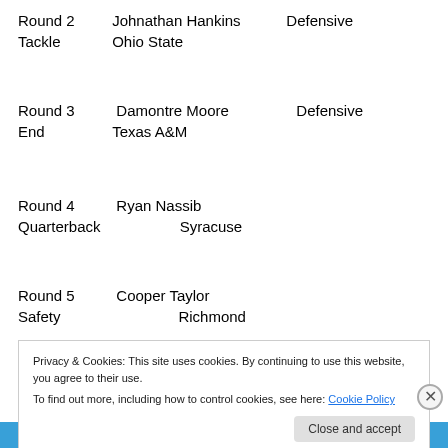Round 2   Johnathan Hankins   Defensive Tackle   Ohio State
Round 3   Damontre Moore   Defensive End   Texas A&M
Round 4   Ryan Nassib   Quarterback   Syracuse
Round 5   Cooper Taylor   Safety   Richmond
Privacy & Cookies: This site uses cookies. By continuing to use this website, you agree to their use. To find out more, including how to control cookies, see here: Cookie Policy
Close and accept